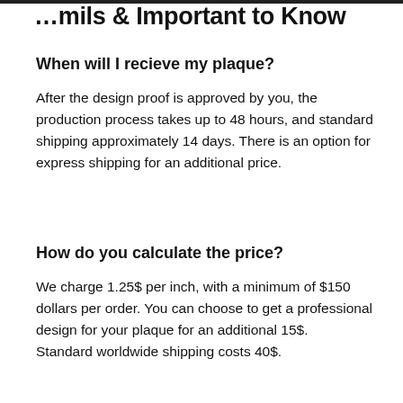…mils & Important to Know
When will I recieve my plaque?
After the design proof is approved by you, the production process takes up to 48 hours, and standard shipping approximately 14 days. There is an option for express shipping for an additional price.
How do you calculate the price?
We charge 1.25$ per inch, with a minimum of $150 dollars per order. You can choose to get a professional design for your plaque for an additional 15$.
Standard worldwide shipping costs 40$.